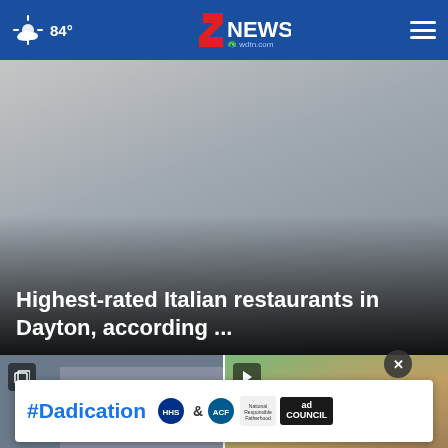84° — 2 NEWS wdtn.com — menu
[Figure (photo): Hero image area with gradient overlay, showing headline about highest-rated Italian restaurants in Dayton]
Highest-rated Italian restaurants in Dayton, according ...
[Figure (photo): Thumbnail photo of a building with blue pillars and letters CHA visible, with a gallery icon badge]
[Figure (photo): Thumbnail photo of a child wearing yellow-green sunglasses, with a play button badge]
Hu... ATI... linked to... Italian...
[Figure (other): #Dadication ad banner with HHS, ACF, and Ad Council logos]